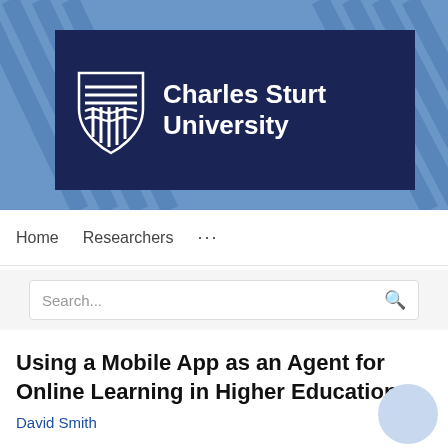[Figure (logo): Charles Sturt University logo banner: navy background with CSU shield icon and 'Charles Sturt University' text in white, on a blue diagonal-striped background.]
Home   Researchers   ...
Search...
Using a Mobile App as an Agent for Online Learning in Higher Education
David Smith